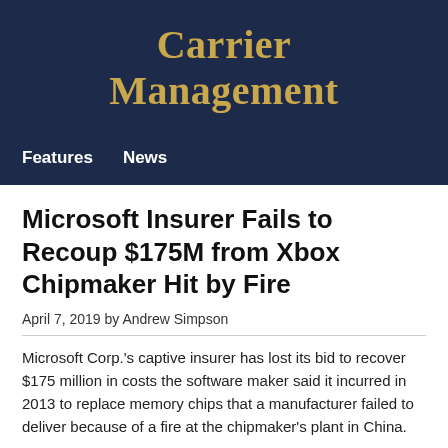Carrier Management
Microsoft Insurer Fails to Recoup $175M from Xbox Chipmaker Hit by Fire
April 7, 2019 by Andrew Simpson
Microsoft Corp.'s captive insurer has lost its bid to recover $175 million in costs the software maker said it incurred in 2013 to replace memory chips that a manufacturer failed to deliver because of a fire at the chipmaker's plant in China.
Cypress Insurance Co., the Arizona captive insurer of Microsoft